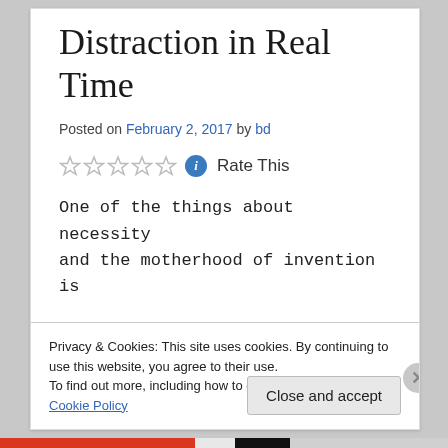Distraction in Real Time
Posted on February 2, 2017 by bd
Rate This
One of the things about necessity and the motherhood of invention is
Privacy & Cookies: This site uses cookies. By continuing to use this website, you agree to their use.
To find out more, including how to control cookies, see here: Cookie Policy
Close and accept